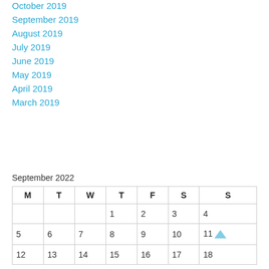October 2019
September 2019
August 2019
July 2019
June 2019
May 2019
April 2019
March 2019
September 2022
| M | T | W | T | F | S | S |
| --- | --- | --- | --- | --- | --- | --- |
|  |  |  | 1 | 2 | 3 | 4 |
| 5 | 6 | 7 | 8 | 9 | 10 | 11 |
| 12 | 13 | 14 | 15 | 16 | 17 | 18 |